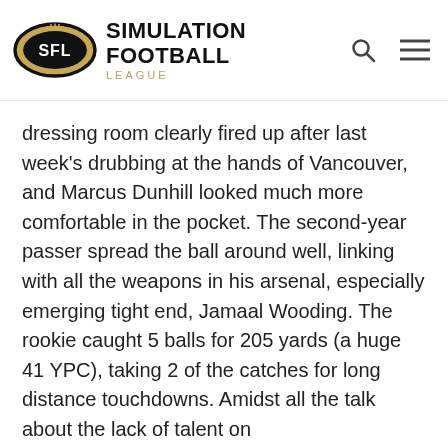SIMULATION FOOTBALL LEAGUE
dressing room clearly fired up after last week's drubbing at the hands of Vancouver, and Marcus Dunhill looked much more comfortable in the pocket. The second-year passer spread the ball around well, linking with all the weapons in his arsenal, especially emerging tight end, Jamaal Wooding. The rookie caught 5 balls for 205 yards (a huge 41 YPC), taking 2 of the catches for long distance touchdowns. Amidst all the talk about the lack of talent on